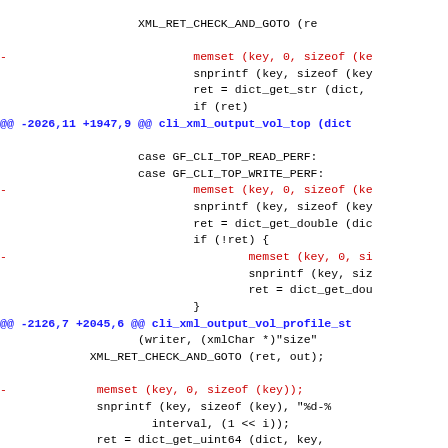Code diff showing removal of memset calls in XML CLI output functions